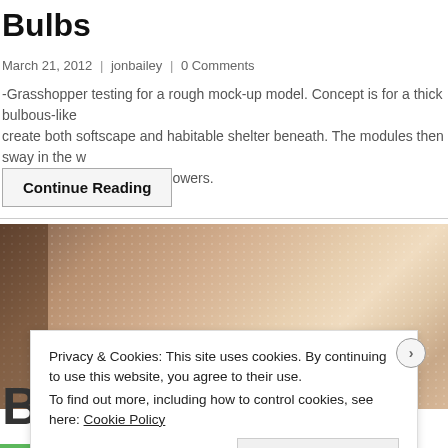Bulbs
March 21, 2012 | jonbailey | 0 Comments
-Grasshopper testing for a rough mock-up model. Concept is for a thick bulbous-like create both softscape and habitable shelter beneath. The modules then sway in the w levels, much like a field of flowers.
Continue Reading
[Figure (photo): Close-up photo of a textured mesh or woven material in beige/brown tones with small dot pattern, with a darker strip on the left side]
Privacy & Cookies: This site uses cookies. By continuing to use this website, you agree to their use.
To find out more, including how to control cookies, see here: Cookie Policy
Close and accept